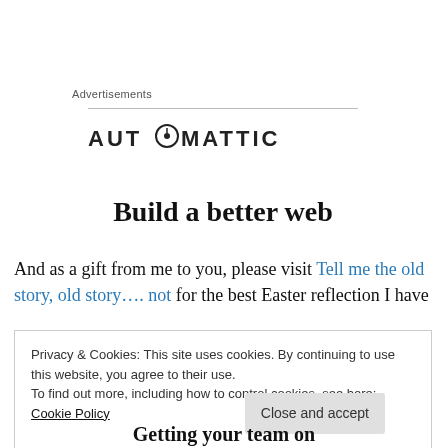Advertisements
[Figure (logo): Automattic logo with compass icon replacing the 'O']
Build a better web
And as a gift from me to you, please visit Tell me the old story, old story…. not for the best Easter reflection I have
Privacy & Cookies: This site uses cookies. By continuing to use this website, you agree to their use.
To find out more, including how to control cookies, see here: Cookie Policy
Close and accept
Getting your team on